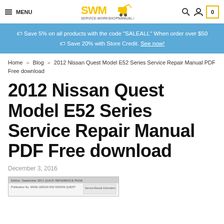MENU | SERVICE-WORKSHOPMANUAL.COM | [search] [account] [cart: 0]
🏷 Save 5% on all products with the code "SALEALL" When order over $50
🏷 Save 20% with Store Credit. See now!
Home » Blog » 2012 Nissan Quest Model E52 Series Service Repair Manual PDF Free download
2012 Nissan Quest Model E52 Series Service Repair Manual PDF Free download
December 3, 2016
[Figure (screenshot): Thumbnail preview of the 2012 Nissan Quest E52 Series service manual document page]